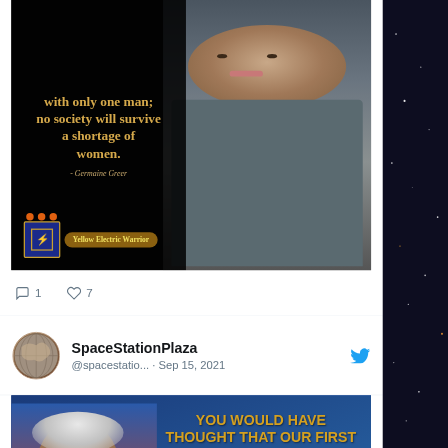[Figure (photo): Tweet image showing a quote card with text 'with only one man; no society will survive a shortage of women. - Germaine Greer' on dark background with a woman's photo on the right, and a Yellow Electric Warrior badge at the bottom left with three orange dots]
1   7
SpaceStationPlaza @spacestation... · Sep 15, 2021
[Figure (photo): Tweet image showing a man in a red shirt on a blue background with gold bold text: 'YOU WOULD HAVE THOUGHT THAT OUR FIRST PRIORITY WOULD BE TO ASK WHAT THE ECOLOGISTS ARE FINDING OUT, BECAUSE WE HAVE TO LIVE WITHIN THE CONDITIONS AND PRINCIPLES THEY DEFINE. INSTEAD, WE'VE ELEVATED THE ECONOMY ABOVE ECOLOGY. - Dr. David Suzuki']
engagement icons row 2